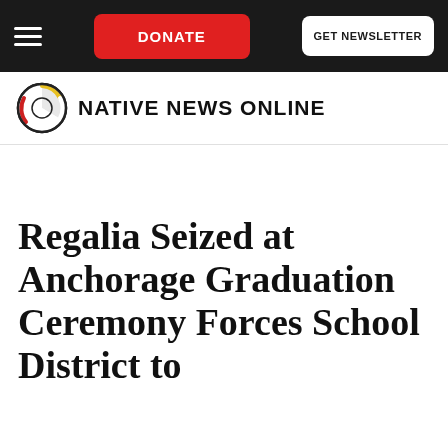DONATE  GET NEWSLETTER
[Figure (logo): Native News Online logo with circular emblem in red, yellow, white and black, and bold uppercase text 'NATIVE NEWS ONLINE']
Regalia Seized at Anchorage Graduation Ceremony Forces School District to